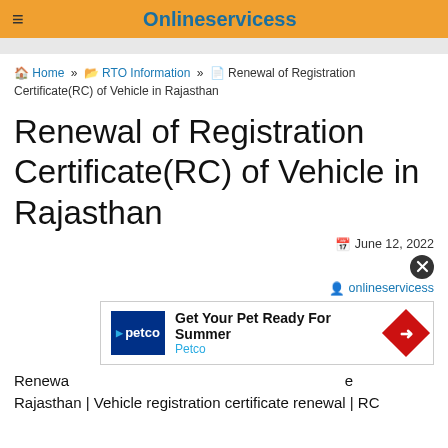Onlineservicess
Home » RTO Information » Renewal of Registration Certificate(RC) of Vehicle in Rajasthan
Renewal of Registration Certificate(RC) of Vehicle in Rajasthan
June 12, 2022
onlineservicess
[Figure (other): Petco advertisement banner: Get Your Pet Ready For Summer, Petco]
Renewal of registration certificate in Rajasthan | Vehicle registration certificate renewal | RC